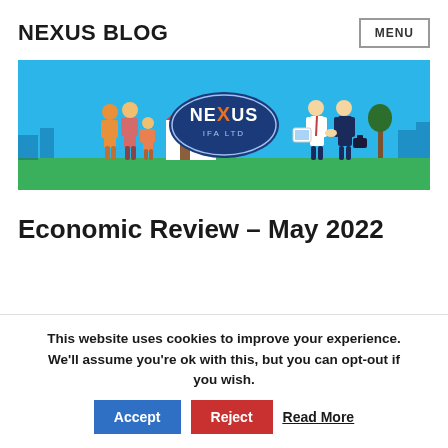NEXUS BLOG
[Figure (illustration): Nexus IFA Ltd banner image on blue background showing a family with a house on the left, the Nexus IFA Ltd oval logo in the center, and two businesspeople shaking hands on the right.]
Economic Review – May 2022
This website uses cookies to improve your experience. We'll assume you're ok with this, but you can opt-out if you wish. Accept Reject Read More